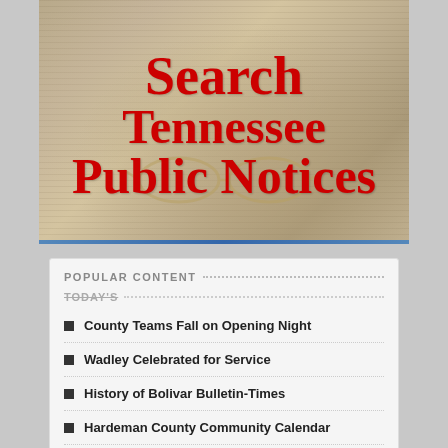[Figure (illustration): Newspaper with glasses on top, overlaid with large red serif text reading 'Search Tennessee Public Notices' on a warm beige/tan background]
POPULAR CONTENT
TODAY'S
County Teams Fall on Opening Night
Wadley Celebrated for Service
History of Bolivar Bulletin-Times
Hardeman County Community Calendar